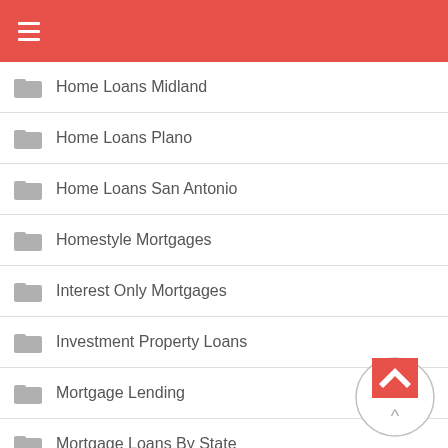☰ (menu icon)
Home Loans Midland
Home Loans Plano
Home Loans San Antonio
Homestyle Mortgages
Interest Only Mortgages
Investment Property Loans
Mortgage Lending
Mortgage Loans By State
Mortgage Rates Today
Mortgage Texas
[Figure (other): Scroll-to-top circular button with red upward arrow]